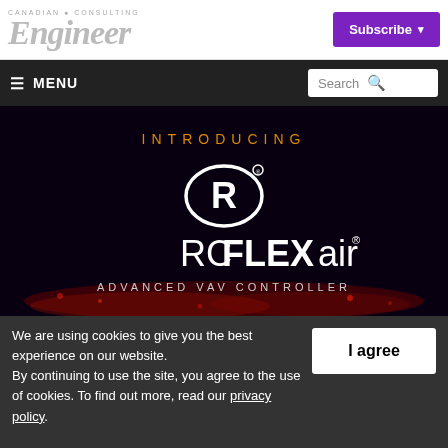Canadian Consulting Engineer | Subscribe
[Figure (logo): Canadian Consulting Engineer logo with large italic 'Engineer' text in grey]
≡ MENU | Search
[Figure (advertisement): Dark purple/black advertisement banner introducing RCFLEXair Advanced VAV Controller with circular R logo in white]
We are using cookies to give you the best experience on our website.
By continuing to use the site, you agree to the use of cookies. To find out more, read our privacy policy.